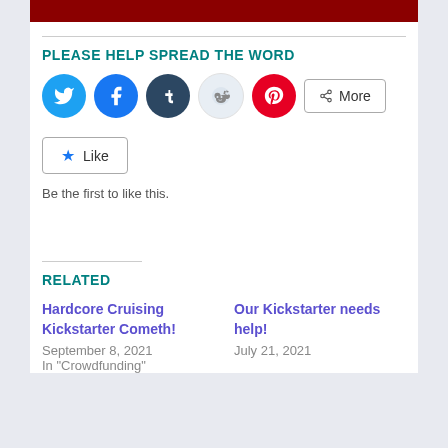[Figure (other): Dark red banner bar at top]
PLEASE HELP SPREAD THE WORD
[Figure (infographic): Social sharing icons: Twitter (blue), Facebook (blue), Tumblr (dark), Reddit (light), Pinterest (red), and a More button]
[Figure (other): Like button with star icon]
Be the first to like this.
RELATED
Hardcore Cruising Kickstarter Cometh!
September 8, 2021
In "Crowdfunding"
Our Kickstarter needs help!
July 21, 2021